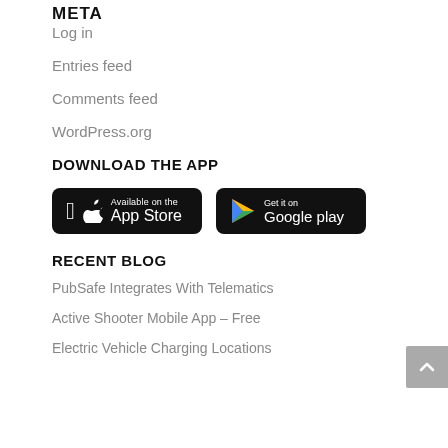META
Log in
Entries feed
Comments feed
WordPress.org
DOWNLOAD THE APP
[Figure (other): App Store and Google Play download buttons]
RECENT BLOG
PubSafe Integrates With Telematics
Active Shooter Mobile App – Free
Electric Vehicle Charging Locations